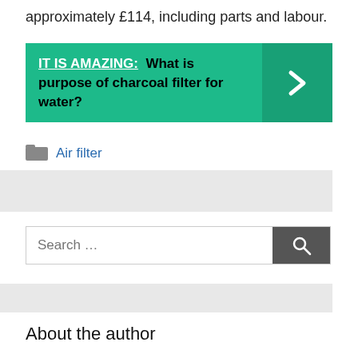approximately £114, including parts and labour.
[Figure (infographic): Teal callout box with text 'IT IS AMAZING: What is purpose of charcoal filter for water?' and a chevron arrow on the right side.]
Air filter
[Figure (other): Search bar with placeholder 'Search ...' and a dark grey search button with magnifying glass icon.]
About the author